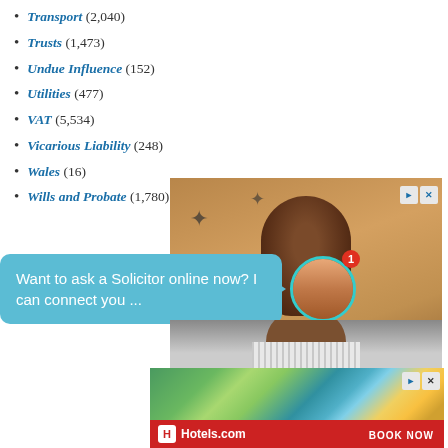Transport (2,040)
Trusts (1,473)
Undue Influence (152)
Utilities (477)
VAT (5,534)
Vicarious Liability (248)
Wales (16)
Wills and Probate (1,780)
[Figure (photo): Advertisement showing a person with a round head, with a chat bubble overlay reading 'Want to ask a Solicitor online now? I can connect you ...' and an avatar of a smiling woman]
[Figure (photo): Hotels.com advertisement with a beach vacation scene and 'BOOK NOW' call to action]